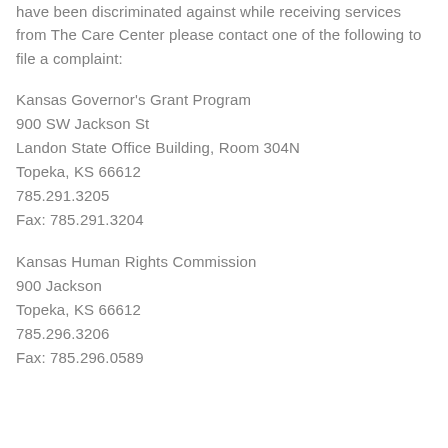have been discriminated against while receiving services from The Care Center please contact one of the following to file a complaint:
Kansas Governor's Grant Program
900 SW Jackson St
Landon State Office Building, Room 304N
Topeka, KS 66612
785.291.3205
Fax: 785.291.3204
Kansas Human Rights Commission
900 Jackson
Topeka, KS 66612
785.296.3206
Fax: 785.296.0589